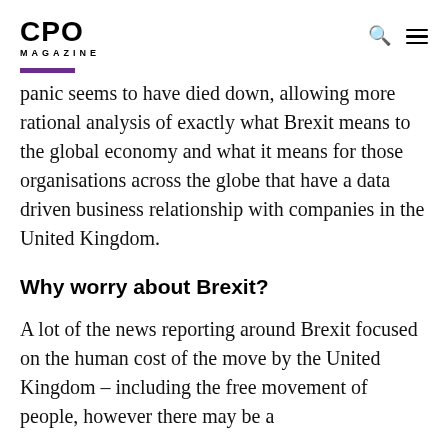CPO MAGAZINE
panic seems to have died down, allowing more rational analysis of exactly what Brexit means to the global economy and what it means for those organisations across the globe that have a data driven business relationship with companies in the United Kingdom.
Why worry about Brexit?
A lot of the news reporting around Brexit focused on the human cost of the move by the United Kingdom – including the free movement of people, however there may be a